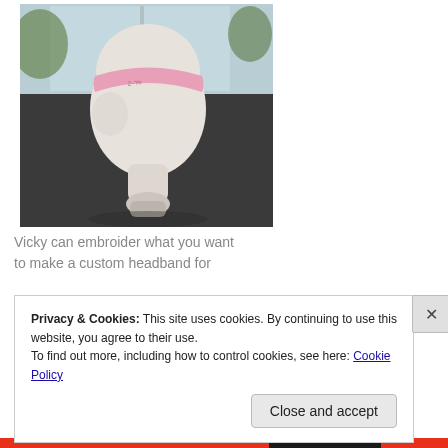[Figure (photo): A white polystyrene mannequin head on a dark surface, wearing a pink embroidered headband, photographed in front of a window with natural light.]
Vicky can embroider what you want
to make a custom headband for
Privacy & Cookies: This site uses cookies. By continuing to use this website, you agree to their use.
To find out more, including how to control cookies, see here: Cookie Policy
Close and accept